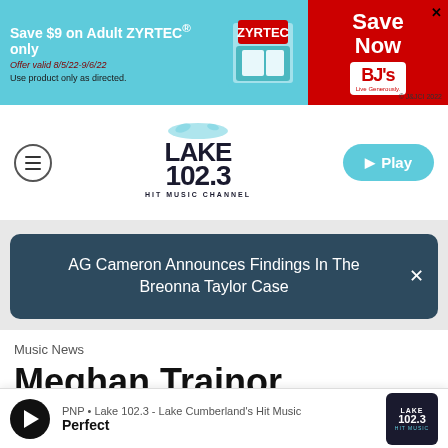[Figure (other): ZYRTEC/BJ's Wholesale Club advertisement banner. Text: 'Save $9 on Adult ZYRTEC® only', 'Offer valid 8/5/22-9/6/22', 'Use product only as directed.', 'Save Now', BJ's logo, '© J&JCI 2022']
[Figure (logo): Lake 102.3 Hit Music Channel radio station logo]
[Figure (other): Play button for Lake 102.3 stream]
AG Cameron Announces Findings In The Breonna Taylor Case
Music News
Meghan Trainor Announces New Album With Colorful
[Figure (other): Now playing bar: PNP • Lake 102.3 - Lake Cumberland's Hit Music | Perfect]
PNP • Lake 102.3 - Lake Cumberland's Hit Music
Perfect